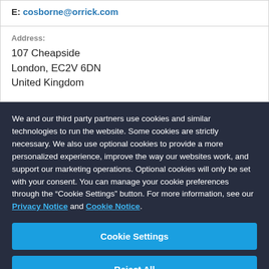E: cosborne@orrick.com
Address:
107 Cheapside
London, EC2V 6DN
United Kingdom
We and our third party partners use cookies and similar technologies to run the website. Some cookies are strictly necessary. We also use optional cookies to provide a more personalized experience, improve the way our websites work, and support our marketing operations. Optional cookies will only be set with your consent. You can manage your cookie preferences through the “Cookie Settings” button. For more information, see our Privacy Notice and Cookie Notice.
Cookie Settings
Reject All